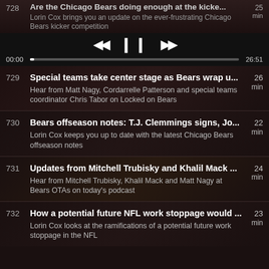728 Are the Chicago Bears doing enough at the kicke... 25 min
Lorin Cox brings you an update on the ever-frustrating Chicago Bears kicker competition
[Figure (screenshot): Media player controls: rewind, pause, fast-forward buttons with progress bar showing 00:00 to 26:51]
729 Special teams take center stage as Bears wrap u... 26 min
Hear from Matt Nagy, Cordarrelle Patterson and special teams coordinator Chris Tabor on Locked on Bears
730 Bears offseason notes: T.J. Clemmings signs, Jo... 22 min
Lorin Cox keeps you up to date with the latest Chicago Bears offseason notes
731 Updates from Mitchell Trubisky and Khalil Mack ... 24 min
Hear from Mitchell Trubisky, Khalil Mack and Matt Nagy at Bears OTAs on today's podcast
732 How a potential future NFL work stoppage would ... 23 min
Lorin Cox looks at the ramifications of a potential future work stoppage in the NFL